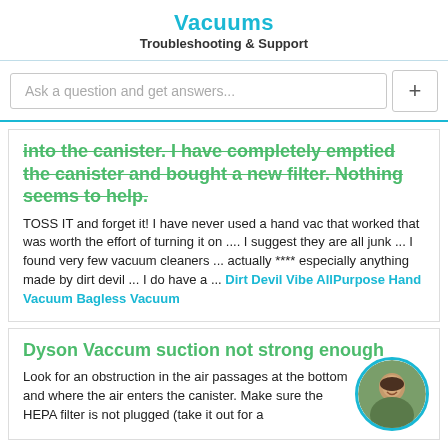Vacuums
Troubleshooting & Support
Ask a question and get answers...
into the canister. I have completely emptied the canister and bought a new filter. Nothing seems to help.
TOSS IT and forget it! I have never used a hand vac that worked that was worth the effort of turning it on .... I suggest they are all junk ... I found very few vacuum cleaners ... actually **** especially anything made by dirt devil ... I do have a ... Dirt Devil Vibe AllPurpose Hand Vacuum Bagless Vacuum
Dyson Vaccum suction not strong enough
Look for an obstruction in the air passages at the bottom and where the air enters the canister. Make sure the HEPA filter is not plugged (take it out for a